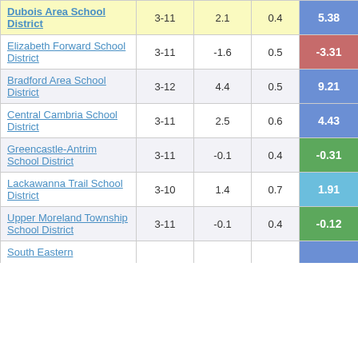|  |  |  |  |  |
| --- | --- | --- | --- | --- |
| Dubois Area School District | 3-11 | 2.1 | 0.4 | 5.38 |
| Elizabeth Forward School District | 3-11 | -1.6 | 0.5 | -3.31 |
| Bradford Area School District | 3-12 | 4.4 | 0.5 | 9.21 |
| Central Cambria School District | 3-11 | 2.5 | 0.6 | 4.43 |
| Greencastle-Antrim School District | 3-11 | -0.1 | 0.4 | -0.31 |
| Lackawanna Trail School District | 3-10 | 1.4 | 0.7 | 1.91 |
| Upper Moreland Township School District | 3-11 | -0.1 | 0.4 | -0.12 |
| South Eastern School District (partial) |  |  |  |  |